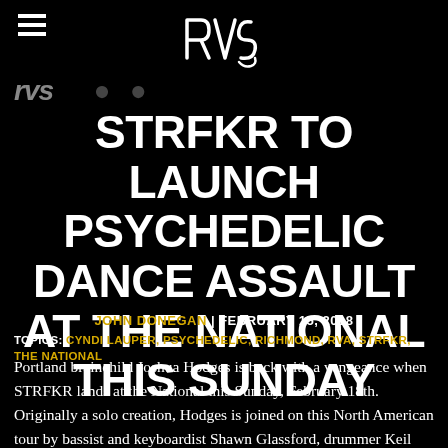RVS logo with menu icon
STRFKR TO LAUNCH PSYCHEDELIC DANCE ASSAULT AT THE NATIONAL THIS SUNDAY
JOHN DONEGAN | FEBRUARY 15, 2018
TOPICS: CYNDI LAUPER, PSYCHEDELIC, RICHMOND, RVA, STRFKR, THE NATIONAL
Portland brainchild Joshua Hodges is back with a vengeance when STRFKR lands at the National this Sunday, February 18th.  Originally a solo creation, Hodges is joined on this North American tour by bassist and keyboardist Shawn Glassford, drummer Keil Corcoran, and guitarist and keyboardist Patrick Morris. The arthouse escapades of the...